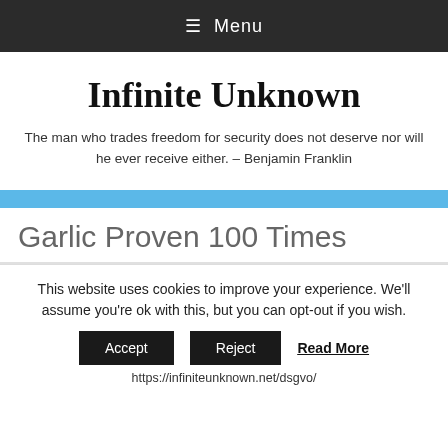≡ Menu
Infinite Unknown
The man who trades freedom for security does not deserve nor will he ever receive either. – Benjamin Franklin
Garlic Proven 100 Times
This website uses cookies to improve your experience. We'll assume you're ok with this, but you can opt-out if you wish. Accept Reject Read More https://infiniteunknown.net/dsgvo/